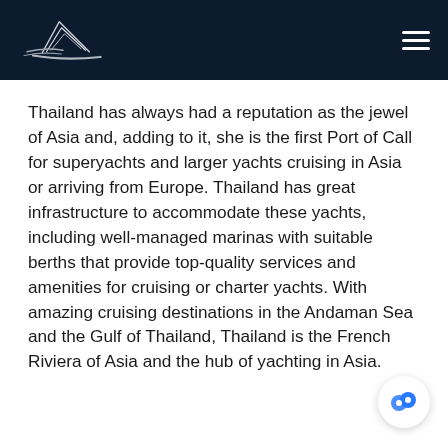[Logo: yacht/sailing vessel icon] [Hamburger menu icon]
Thailand has always had a reputation as the jewel of Asia and, adding to it, she is the first Port of Call for superyachts and larger yachts cruising in Asia or arriving from Europe. Thailand has great infrastructure to accommodate these yachts, including well-managed marinas with suitable berths that provide top-quality services and amenities for cruising or charter yachts. With amazing cruising destinations in the Andaman Sea and the Gulf of Thailand, Thailand is the French Riviera of Asia and the hub of yachting in Asia.